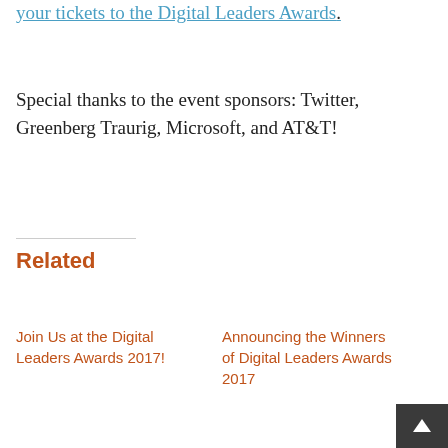your tickets to the Digital Leaders Awards.
Special thanks to the event sponsors: Twitter, Greenberg Traurig, Microsoft, and AT&T!
Related
Join Us at the Digital Leaders Awards 2017!
Announcing the Winners of Digital Leaders Awards 2017